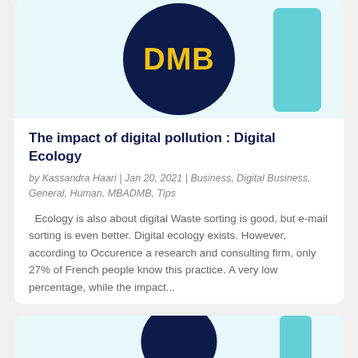[Figure (logo): DMB logo: dark navy circle with yellow 'DMB' text, teal accent shape on right, on light teal background]
The impact of digital pollution : Digital Ecology
by Kassandra Haari | Jan 20, 2021 | Business, Digital Business, General, Human, MBADMB, Tips
Ecology is also about digital Waste sorting is good, but e-mail sorting is even better. Digital ecology exists. However, according to Occurence a research and consulting firm, only 27% of French people know this practice. A very low percentage, while the impact...
[Figure (logo): Partial DMB logo card (cropped at bottom of page)]